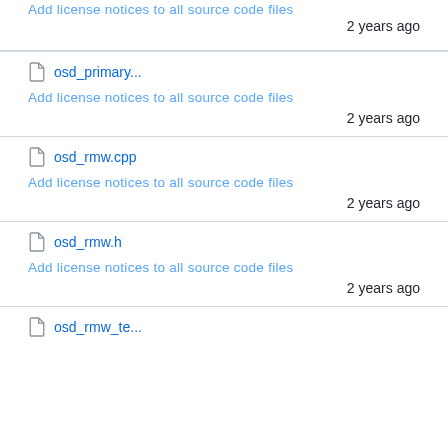Add license notices to all source code files
2 years ago
osd_primary...
Add license notices to all source code files
2 years ago
osd_rmw.cpp
Add license notices to all source code files
2 years ago
osd_rmw.h
Add license notices to all source code files
2 years ago
osd_rmw_te...